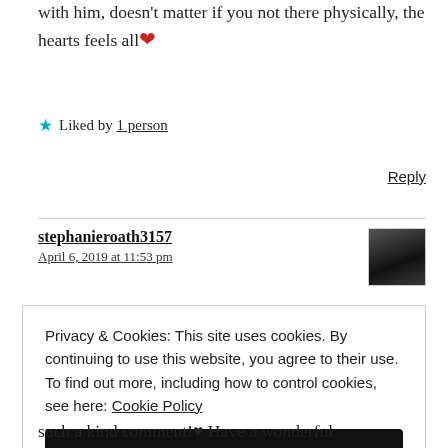with him, doesn't matter if you not there physically, the hearts feels all ❤
★ Liked by 1 person
Reply
stephanieroath3157
April 6, 2019 at 11:53 pm
Privacy & Cookies: This site uses cookies. By continuing to use this website, you agree to their use. To find out more, including how to control cookies, see here: Cookie Policy
Close and accept
such a kind comment!♥ Have a wonderful